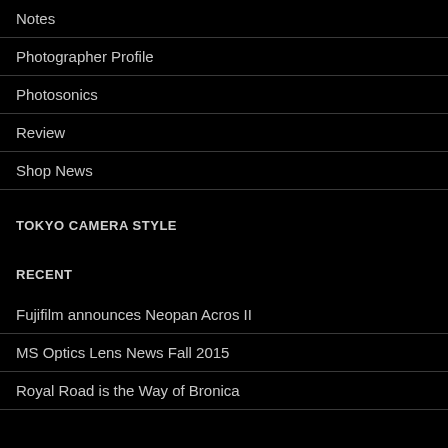Notes
Photographer Profile
Photosonics
Review
Shop News
TOKYO CAMERA STYLE
RECENT
Fujifilm announces Neopan Acros II
MS Optics Lens News Fall 2015
Royal Road is the Way of Bronica